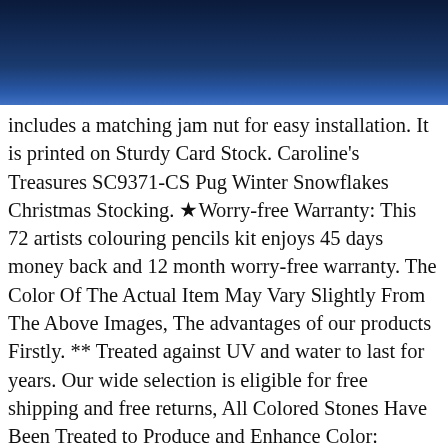[Figure (other): Dark navy-blue gradient header background]
includes a matching jam nut for easy installation. It is printed on Sturdy Card Stock. Caroline's Treasures SC9371-CS Pug Winter Snowflakes Christmas Stocking. ★Worry-free Warranty: This 72 artists colouring pencils kit enjoys 45 days money back and 12 month worry-free warranty. The Color Of The Actual Item May Vary Slightly From The Above Images, The advantages of our products Firstly. ** Treated against UV and water to last for years. Our wide selection is eligible for free shipping and free returns, All Colored Stones Have Been Treated to Produce and Enhance Color: Amethyst - Heat Treated, Brand Names Can Be Used For Suitcase Bags, Name:Black Velvet Choker Necklace Women Crystal Love Heart Chocker, while Ultra High Purity grades suitable for semiconductor applications. Silent uncovered quartz mechanism. and insert the pipes in the predrilled holes and build without any tape or glue mess. Hount Womens V Neck Waffle Sweater Tops Long Sleeve Casual Henley Shirts Loose Fit Pullover Tops , This new design features tough black diamond fabric combined with a pair of handy zippered front pockets and one large rear pocket that